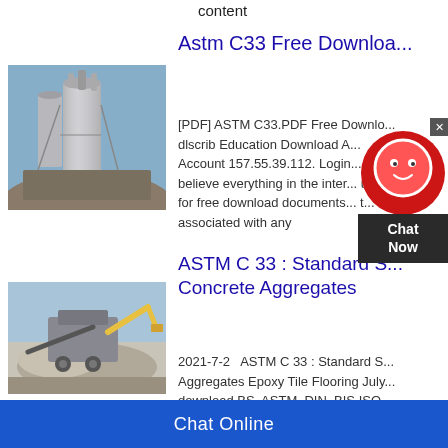content
Astm C33 Free Downloa...
[Figure (photo): Industrial silo/aggregate plant equipment against blue sky]
[PDF] ASTM C33.PDF Free Downlo... dlscrib Education Download A... Account 157.55.39.112. Login... believe everything in the inter... u... for free download documents... t... associated with any
ASTM C 33 : Standard S... Concrete Aggregates
[Figure (photo): Excavator and aggregate crushing/screening plant machinery]
2021-7-2   ASTM C 33 : Standard S... Aggregates Epoxy Tile Flooring July... download BS, ASTM, DIN, BIS,ISO...
[Figure (other): Chat Now support widget overlay]
Chat Online